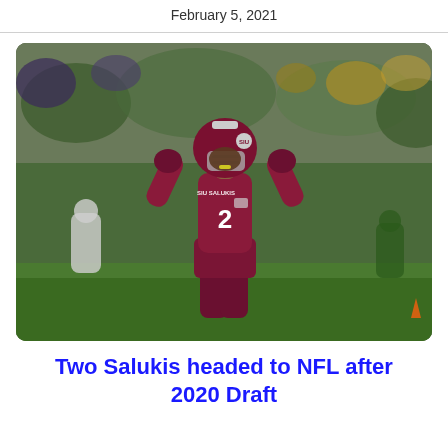February 5, 2021
[Figure (photo): Football player wearing maroon SIU Salukis jersey number 2 flexing both arms raised near head on a football field, blurred crowd and green background behind him]
Two Salukis headed to NFL after 2020 Draft